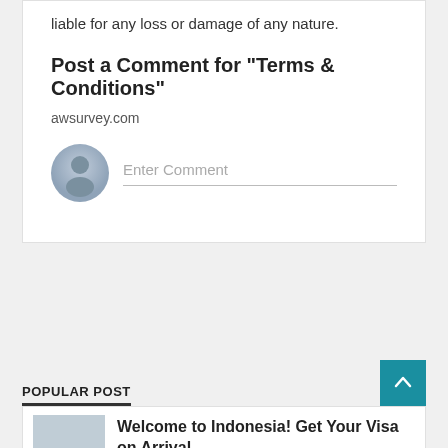liable for any loss or damage of any nature.
Post a Comment for "Terms & Conditions"
awsurvey.com
[Figure (illustration): Generic user avatar icon (grey circle with person silhouette) next to an Enter Comment input field with a bottom border line.]
POPULAR POST
Welcome to Indonesia! Get Your Visa on Arrival